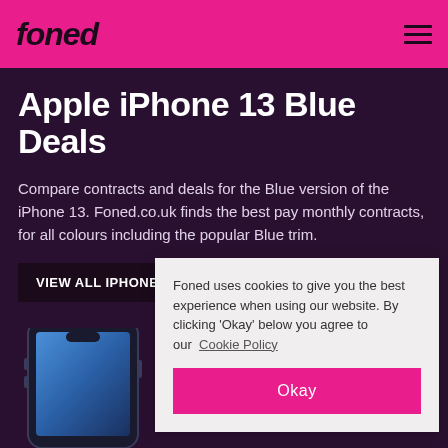foned
Apple iPhone 13 Blue Deals
Compare contracts and deals for the Blue version of the iPhone 13. Foned.co.uk finds the best pay monthly contracts, for all colours including the popular Blue trim.
VIEW ALL IPHONE 13 DEALS
[Figure (photo): Blue iPhone 13 device shown from the front against a dark purple background]
Foned uses cookies to give you the best experience when using our website. By clicking 'Okay' below you agree to our Cookie Policy
Okay